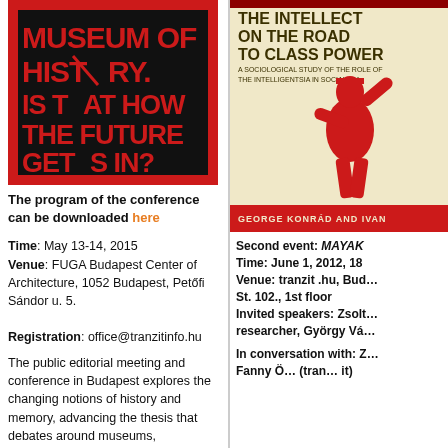[Figure (illustration): Book or exhibition poster with red and black design showing text: MUSEUM OF HISTORY. IS THAT HOW THE FUTURE GETS IN?]
The program of the conference can be downloaded here
Time: May 13-14, 2015
Venue: FUGA Budapest Center of Architecture, 1052 Budapest, Petőfi Sándor u. 5.
Registration: office@tranzitinfo.hu
The public editorial meeting and conference in Budapest explores the changing notions of history and memory, advancing the thesis that debates around museums, monuments, memorials, re-enactments, revisionist historiography, and rivalry between such traumas as Trianon and the Holocaust today constitute a major political battleground in
[Figure (illustration): Book cover: The Intellectuals on the Road to Class Power - A Sociological Study of the Role of the Intelligentsia in Socialism, by George Konrád and Ivan (Szelényi). Red figure silhouette on cream background.]
Second event: MAYAK
Time: June 1, 2012, 18
Venue: tranzit .hu, Bud… St. 102., 1st floor
Invited speakers: Zsolt… researcher, György Vá…
In conversation with: Z… Fanny Ö… (tran… it)